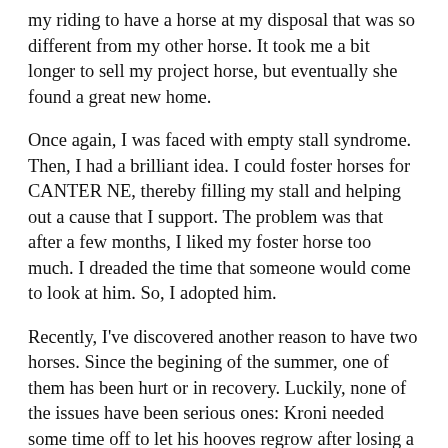my riding to have a horse at my disposal that was so different from my other horse. It took me a bit longer to sell my project horse, but eventually she found a great new home.
Once again, I was faced with empty stall syndrome. Then, I had a brilliant idea. I could foster horses for CANTER NE, thereby filling my stall and helping out a cause that I support. The problem was that after a few months, I liked my foster horse too much. I dreaded the time that someone would come to look at him. So, I adopted him.
Recently, I've discovered another reason to have two horses. Since the begining of the summer, one of them has been hurt or in recovery. Luckily, none of the issues have been serious ones: Kroni needed some time off to let his hooves regrow after losing a lot of hoof wall, then he had an abscess, then he suffered a mild colic, then he had conjunctivitis. Thank goodness Kroni is fine now, because just this week Freedom had an abscess. Darn